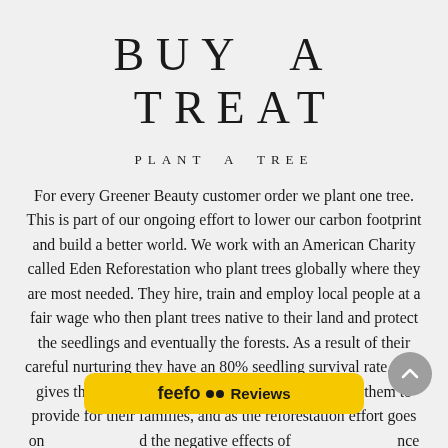BUY A TREAT
PLANT A TREE
For every Greener Beauty customer order we plant one tree. This is part of our ongoing effort to lower our carbon footprint and build a better world. We work with an American Charity called Eden Reforestation who plant trees globally where they are most needed. They hire, train and employ local people at a fair wage who then plant trees native to their land and protect the seedlings and eventually the forests. As a result of their careful nurturing they have an 80% seedling survival rate. This gives the local people a consistent income enabling them to provide for their families, and as the reforestation effort goes on... and the negative effects of... nce Eden